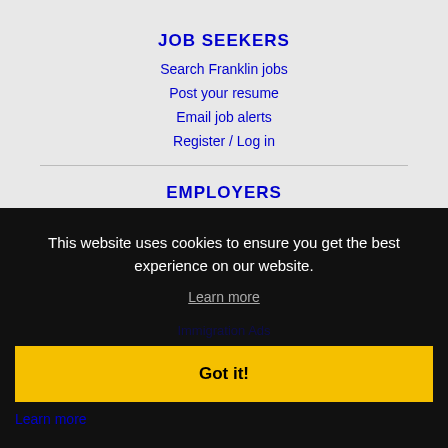JOB SEEKERS
Search Franklin jobs
Post your resume
Email job alerts
Register / Log in
EMPLOYERS
Post jobs
This website uses cookies to ensure you get the best experience on our website.
Learn more
Got it!
Learn more